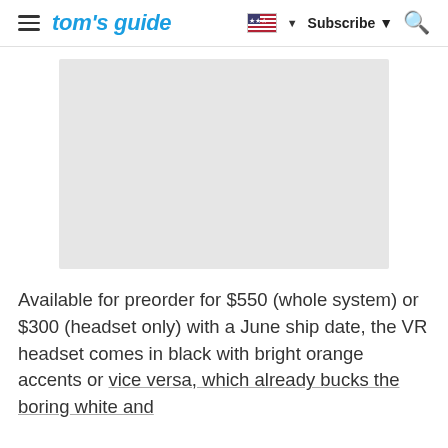tom's guide — Subscribe
[Figure (photo): Light gray image placeholder rectangle]
Available for preorder for $550 (whole system) or $300 (headset only) with a June ship date, the VR headset comes in black with bright orange accents or vice versa, which already bucks the boring white and